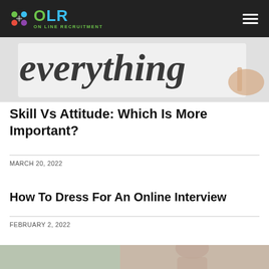OLR ON LINE RECRUITMENT
[Figure (photo): Partially visible photo showing cursive handwriting text with a hand holding a pen, white/grey background]
Skill Vs Attitude: Which Is More Important?
MARCH 20, 2022
How To Dress For An Online Interview
FEBRUARY 2, 2022
[Figure (photo): Partially visible photo at the bottom of the page showing people in interview/professional setting]